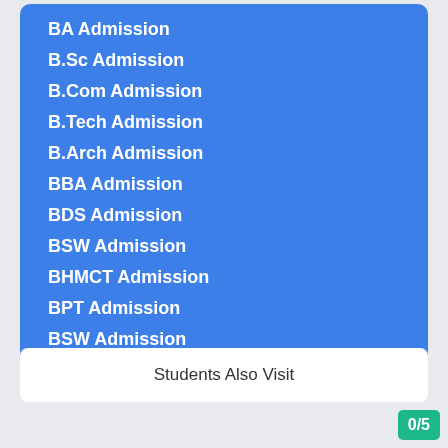BA Admission
B.Sc Admission
B.Com Admission
B.Tech Admission
B.Arch Admission
BBA Admission
BDS Admission
BSW Admission
BHMCT Admission
BPT Admission
BSW Admission
Students Also Visit
0/5